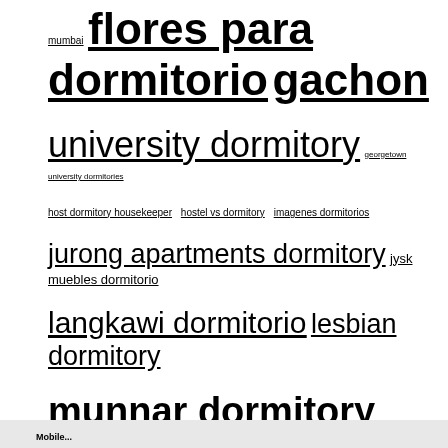mumbai flores para dormitorio gachon university dormitory georgetown university dormitories host dormitory housekeeper hostel vs dormitory imagenes dormitorios jurong apartments dormitory jysk muebles dormitorio langkawi dormitorio lesbian dormitory munnar dormitory cottages national university dormitory reformas dormitorios matrimonio shiprock reservation dormitory sungei tengah dormitory vetrnik dormitory prague
Mobile...